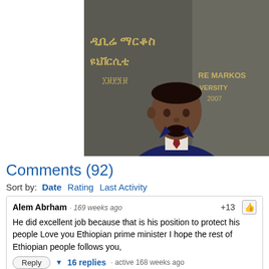[Figure (photo): A man in a dark suit speaking, with a stone monument in the background engraved with Ethiopic script and text reading 'RE MARKOS VERSITY 2007']
Comments (92)
Sort by: Date  Rating  Last Activity
Alem Abrham · 169 weeks ago  +13
He did excellent job because that is his position to protect his people Love you Ethiopian prime minister I hope the rest of Ethiopian people follows you,
Reply  ▼ 16 replies · active 168 weeks ago
Selem